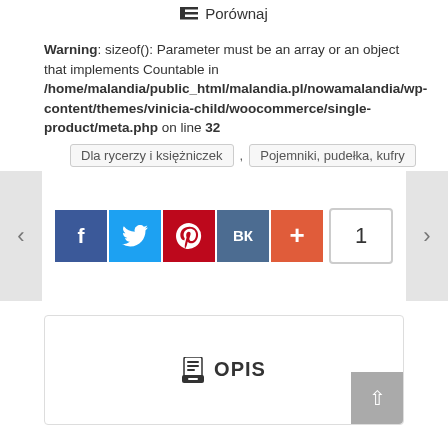Porównaj
Warning: sizeof(): Parameter must be an array or an object that implements Countable in /home/malandia/public_html/malandia.pl/nowamalandia/wp-content/themes/vinicia-child/woocommerce/single-product/meta.php on line 32
Dla rycerzy i księżniczek , Pojemniki, pudełka, kufry
[Figure (screenshot): Social share buttons row: Facebook (blue), Twitter (blue), Pinterest (red), VK (slate blue), plus/more (orange-red), and share count badge showing 1]
OPIS